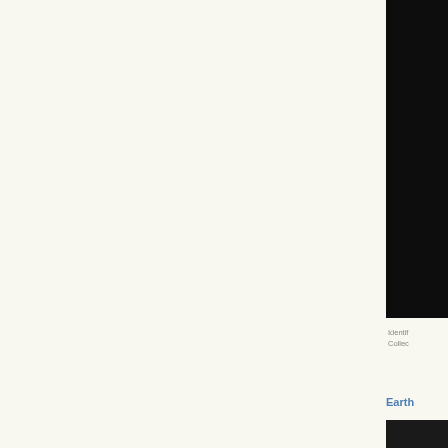[Figure (photo): Dark/black panel image at upper right of page, cropped]
Identif Collection
Earth
[Figure (photo): Dark/black panel image at lower right of page, cropped]